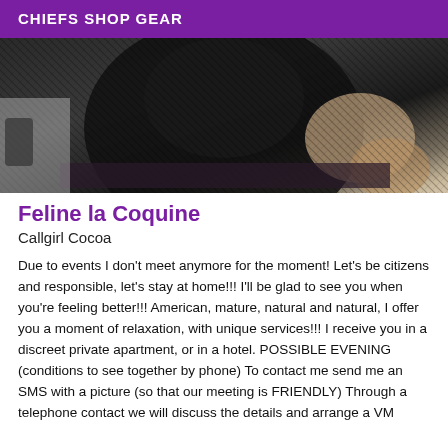CHIEFS SHOP GEAR
[Figure (photo): A person wearing a dark black lace outfit, partial body shot in an indoor setting.]
Feline la Coquine
Callgirl Cocoa
Due to events I don't meet anymore for the moment! Let's be citizens and responsible, let's stay at home!!! I'll be glad to see you when you're feeling better!!! American, mature, natural and natural, I offer you a moment of relaxation, with unique services!!! I receive you in a discreet private apartment, or in a hotel. POSSIBLE EVENING (conditions to see together by phone) To contact me send me an SMS with a picture (so that our meeting is FRIENDLY) Through a telephone contact we will discuss the details and arrange a VM